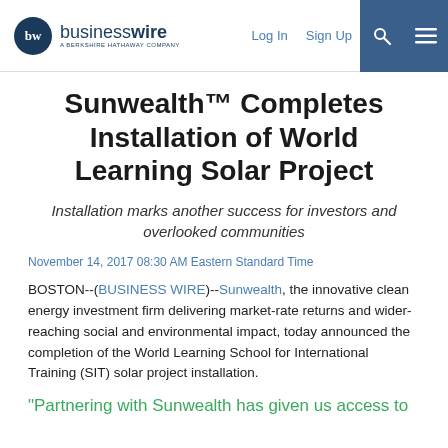businesswire — A Berkshire Hathaway Company | Log In | Sign Up
Sunwealth™ Completes Installation of World Learning Solar Project
Installation marks another success for investors and overlooked communities
November 14, 2017 08:30 AM Eastern Standard Time
BOSTON--(BUSINESS WIRE)--Sunwealth, the innovative clean energy investment firm delivering market-rate returns and wider-reaching social and environmental impact, today announced the completion of the World Learning School for International Training (SIT) solar project installation.
"Partnering with Sunwealth has given us access to